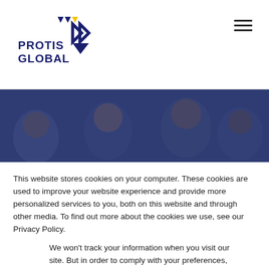[Figure (logo): Protis Global logo with triangular arrow design in navy and yellow]
[Figure (photo): Group of smiling people in a crowd, overlaid with dark navy tint]
OUR TRIBE... A FUN REFLECTION OF WHAT
This website stores cookies on your computer. These cookies are used to improve your website experience and provide more personalized services to you, both on this website and through other media. To find out more about the cookies we use, see our Privacy Policy.
We won't track your information when you visit our site. But in order to comply with your preferences, we'll have to use just one tiny cookie so that you're not asked to make this choice again.